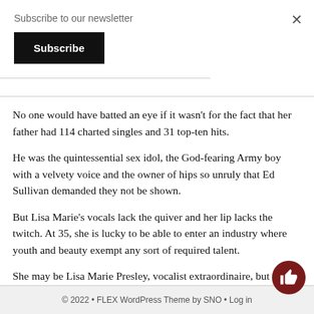Subscribe to our newsletter
Subscribe
×
No one would have batted an eye if it wasn't for the fact that her father had 114 charted singles and 31 top-ten hits.
He was the quintessential sex idol, the God-fearing Army boy with a velvety voice and the owner of hips so unruly that Ed Sullivan demanded they not be shown.
But Lisa Marie's vocals lack the quiver and her lip lacks the twitch. At 35, she is lucky to be able to enter an industry where youth and beauty exempt any sort of required talent.
She may be Lisa Marie Presley, vocalist extraordinaire, but for the rest of world, she will remain the daughter of a fallen King.
© 2022 • FLEX WordPress Theme by SNO • Log in